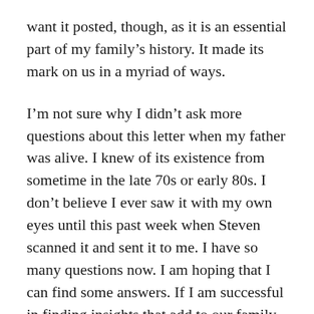want it posted, though, as it is an essential part of my family's history. It made its mark on us in a myriad of ways.
I'm not sure why I didn't ask more questions about this letter when my father was alive. I knew of its existence from sometime in the late 70s or early 80s. I don't believe I ever saw it with my own eyes until this past week when Steven scanned it and sent it to me. I have so many questions now. I am hoping that I can find some answers. If I am successful in finding insights that add to our family story, I will share them.